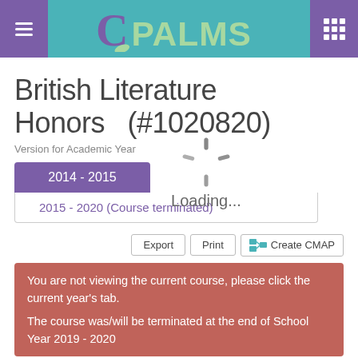CPALMS
British Literature Honors  (#1020820)
Version for Academic Year
2014 - 2015
2015 - 2020 (Course terminated)
Loading...
Export   Print   Create CMAP
You are not viewing the current course, please click the current year's tab.

The course was/will be terminated at the end of School Year 2019 - 2020